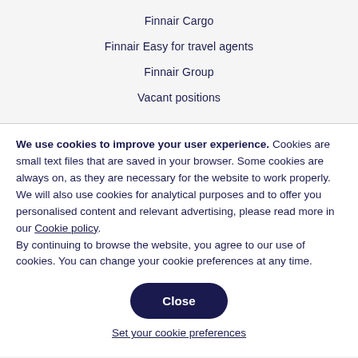Finnair Cargo
Finnair Easy for travel agents
Finnair Group
Vacant positions
We use cookies to improve your user experience. Cookies are small text files that are saved in your browser. Some cookies are always on, as they are necessary for the website to work properly. We will also use cookies for analytical purposes and to offer you personalised content and relevant advertising, please read more in our Cookie policy. By continuing to browse the website, you agree to our use of cookies. You can change your cookie preferences at any time.
Close
Set your cookie preferences